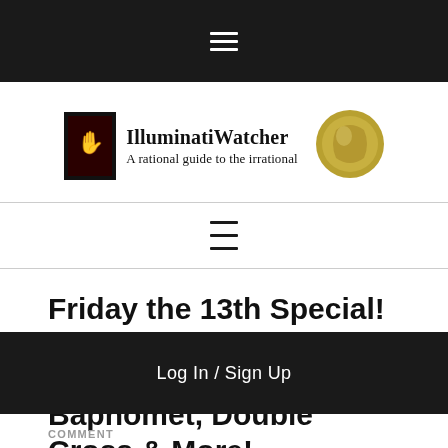≡ (navigation menu icon)
[Figure (logo): IlluminatiWatcher logo with book cover image on left, text 'IlluminatiWatcher / A rational guide to the irrational' in center, and decorative orb on right]
[Figure (other): Hamburger menu icon (three horizontal lines) centered below divider line]
Friday the 13th Special! Knights Templar History & Symbolism, Baphomet, Double Cross & More!
Log In / Sign Up
COMMENT